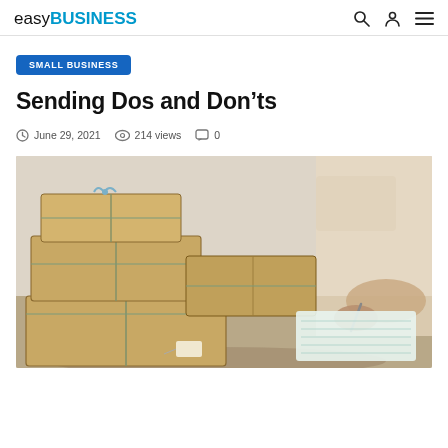easyBUSINESS
SMALL BUSINESS
Sending Dos and Don'ts
June 29, 2021   214 views   0
[Figure (photo): Stacked cardboard shipping boxes with tags and string tied around them on a table, with a woman writing/labeling packages in the background, soft warm lighting]